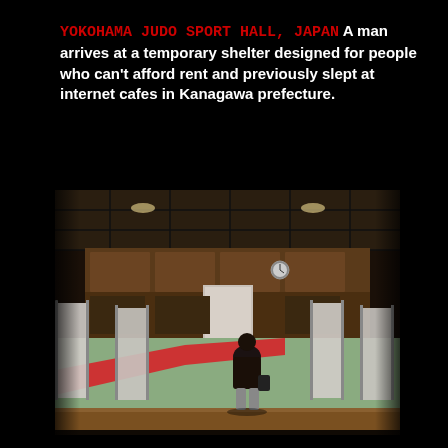YOKOHAMA JUDO SPORT HALL, JAPAN A man arrives at a temporary shelter designed for people who can't afford rent and previously slept at internet cafes in Kanagawa prefecture.
[Figure (photo): Interior of Yokohama Judo Sport Hall converted into a temporary shelter. A lone person stands in silhouette facing inward toward the hall. White curtained partitions line both sides. The floor is a judo mat with green and red sections. Wooden paneling and ceiling lights illuminate the hall. A clock is visible on the back wall.]